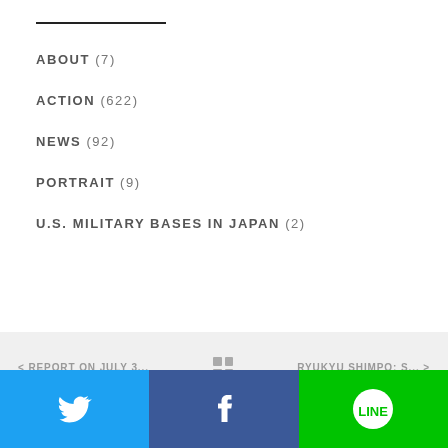ABOUT (7)
ACTION (622)
NEWS (92)
PORTRAIT (9)
U.S. MILITARY BASES IN JAPAN (2)
< REPORT ON JULY 3...   [grid]   RYUKYU SHIMPO: S... >
> HOME
[Figure (other): Social media share buttons: Twitter (blue), Facebook (dark blue), LINE (green)]